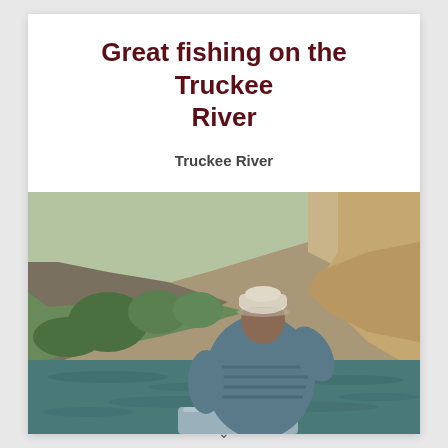Great fishing on the Truckee River
Truckee River
[Figure (photo): A person wearing a blue jacket and white cap seen from behind, sitting in a boat on the Truckee River, fly fishing. Rocky hills with shrubs and trees are visible in the background across the green river water.]
∨